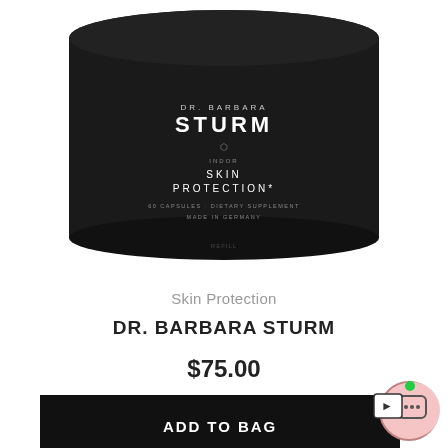[Figure (photo): Black cylindrical jar of Dr. Barbara Sturm Skin Protection dietary supplement, 60 capsules, made in Germany]
Skin Protection
DR. BARBARA STURM
$75.00
ADD TO BAG
[Figure (illustration): Accessibility icon - person in wheelchair in pink circle]
[Figure (illustration): Chat/message widget icon with green dot indicator]